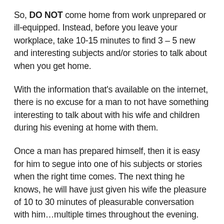So, DO NOT come home from work unprepared or ill-equipped. Instead, before you leave your workplace, take 10-15 minutes to find 3 – 5 new and interesting subjects and/or stories to talk about when you get home.
With the information that's available on the internet, there is no excuse for a man to not have something interesting to talk about with his wife and children during his evening at home with them.
Once a man has prepared himself, then it is easy for him to segue into one of his subjects or stories when the right time comes. The next thing he knows, he will have just given his wife the pleasure of 10 to 30 minutes of pleasurable conversation with him…multiple times throughout the evening.